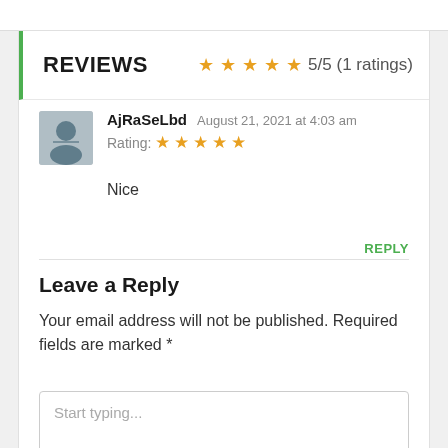REVIEWS  5/5 (1 ratings)
AjRaSeLbd  August 21, 2021 at 4:03 am
Rating: ★★★★★
Nice
REPLY
Leave a Reply
Your email address will not be published. Required fields are marked *
Start typing...